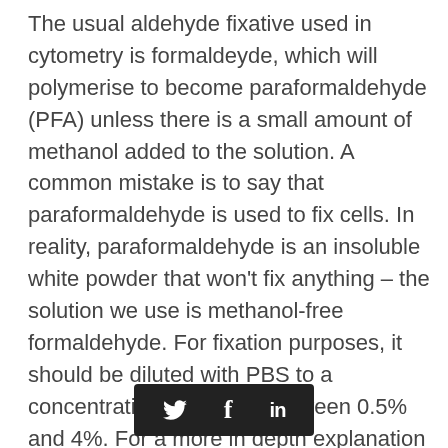The usual aldehyde fixative used in cytometry is formaldeyde, which will polymerise to become paraformaldehyde (PFA) unless there is a small amount of methanol added to the solution. A common mistake is to say that paraformaldehyde is used to fix cells. In reality, paraformaldehyde is an insoluble white powder that won't fix anything – the solution we use is methanol-free formaldehyde. For fixation purposes, it should be diluted with PBS to a concentration anywhere between 0.5% and 4%. For a more in depth explanation of the nomenclature of formaldehyde and paraformaldye see this
[Figure (other): Social media sharing bar with Twitter, Facebook, and LinkedIn icons on a dark background]